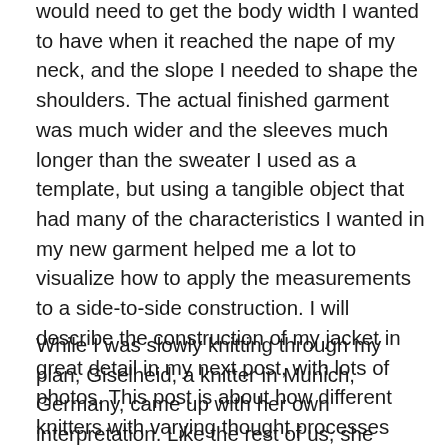would need to get the body width I wanted to have when it reached the nape of my neck, and the slope I needed to shape the shoulders. The actual finished garment was much wider and the sleeves much longer than the sweater I used as a template, but using a tangible object that had many of the characteristics I wanted in my new garment helped me a lot to visualize how to apply the measurements to a side-to-side construction. I will describe the construction of my jacket in great detail in my next post, with lots of photos. This post is about how different knitters with varying thought processes interpreted a seminal idea and expanded on each other's ideas to create very different results.
While I was slowly knitting through my plan, Giselheid, a knitter in Munich, Germany, came up with her own interpretation. Like the rest of us, she started her jacket at